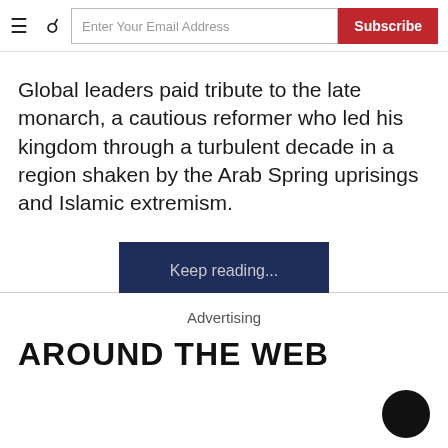≡ 🔍 Enter Your Email Address | Subscribe
Global leaders paid tribute to the late monarch, a cautious reformer who led his kingdom through a turbulent decade in a region shaken by the Arab Spring uprisings and Islamic extremism.
Keep reading...
2 Comments
Advertising
AROUND THE WEB